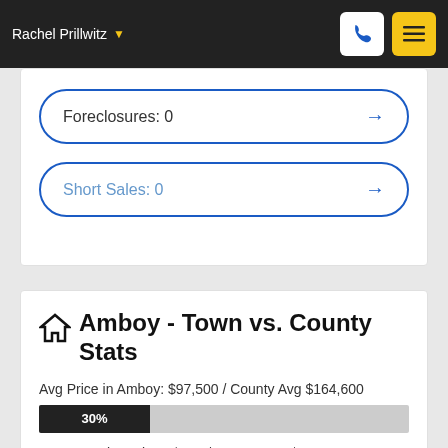Rachel Prillwitz
Foreclosures: 0
Short Sales: 0
Amboy - Town vs. County Stats
Avg Price in Amboy: $97,500 / County Avg $164,600
[Figure (bar-chart): Avg Price comparison]
Avg Taxes in Amboy: $200 / County Avg $900